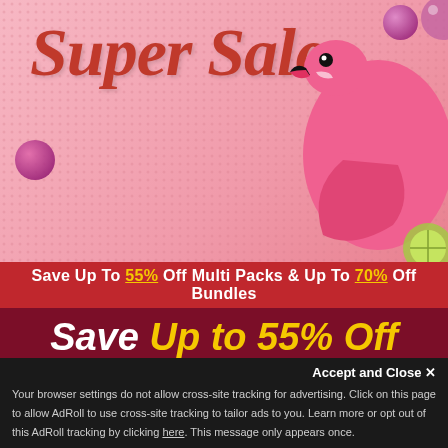[Figure (illustration): Summer Super Sale banner with pink flamingo pool float on pink background with bubble decorations and 'Super Sale' in red cursive script]
Save Up To 55% Off Multi Packs & Up To 70% Off Bundles
Save Up to 55% Off Multi Packs
Just Use Promo Code:
X
Accept and Close ✕
Your browser settings do not allow cross-site tracking for advertising. Click on this page to allow AdRoll to use cross-site tracking to tailor ads to you. Learn more or opt out of this AdRoll tracking by clicking here. This message only appears once.